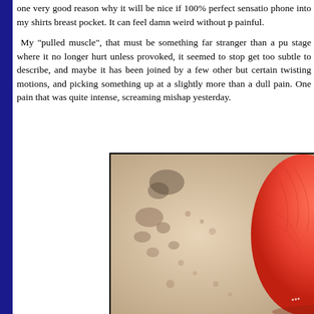one very good reason why it will be nice if 100% perfect sensation... phone into my shirts breast pocket. It can feel damn weird without p... painful.
My "pulled muscle", that must be something far stranger than a pu... stage where it no longer hurt unless provoked, it seemed to stop get... too subtle to describe, and maybe it has been joined by a few other ... but certain twisting motions, and picking something up at a slightly... more than a dull pain. One pain that was quite intense, screaming... mishap yesterday.
[Figure (photo): Close-up photo of skin/body area showing bruising or discoloration marks on pale skin, with a red/orange rounded object (possibly a bottle or ball) visible on the right side of the image.]